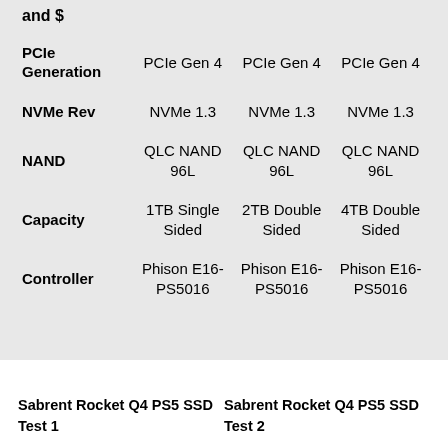|  | Col1 | Col2 | Col3 |
| --- | --- | --- | --- |
| and $ |  |  |  |
| PCIe Generation | PCIe Gen 4 | PCIe Gen 4 | PCIe Gen 4 |
| NVMe Rev | NVMe 1.3 | NVMe 1.3 | NVMe 1.3 |
| NAND | QLC NAND 96L | QLC NAND 96L | QLC NAND 96L |
| Capacity | 1TB Single Sided | 2TB Double Sided | 4TB Double Sided |
| Controller | Phison E16-PS5016 | Phison E16-PS5016 | Phison E16-PS5016 |
Sabrent Rocket Q4 PS5 SSD Test 1
Sabrent Rocket Q4 PS5 SSD Test 2